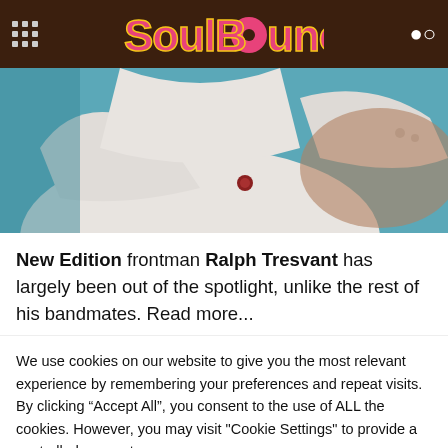SoulBounce
[Figure (photo): Close-up photo of a person wearing a white suit with a ring on their finger, teal background]
New Edition frontman Ralph Tresvant has largely been out of the spotlight, unlike the rest of his bandmates. Read more...
We use cookies on our website to give you the most relevant experience by remembering your preferences and repeat visits. By clicking "Accept All", you consent to the use of ALL the cookies. However, you may visit "Cookie Settings" to provide a controlled consent.
Cookie Settings | Accept All